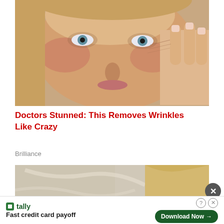[Figure (photo): Close-up photo of a middle-aged woman with blonde hair and blue eyes touching near her eye with her fingers, showing facial skin with some redness and wrinkles]
Doctors Stunned: This Removes Wrinkles Like Crazy
Brilliance
[Figure (photo): Partial photo of a person with blonde hair, appears to show skin or fabric texture, cropped at bottom of page]
tally Fast credit card payoff
Download Now →